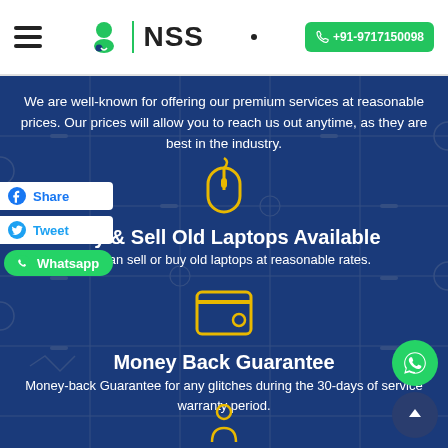NSS | +91-9717150098
We are well-known for offering our premium services at reasonable prices. Our prices will allow you to reach us out anytime, as they are best in the industry.
[Figure (illustration): Yellow mouse icon]
Buy & Sell Old Laptops Available
You can sell or buy old laptops at reasonable rates.
[Figure (illustration): Yellow wallet icon]
Money Back Guarantee
Money-back Guarantee for any glitches during the 30-days of service warranty period.
[Figure (illustration): Yellow person/service icon (partial, at bottom)]